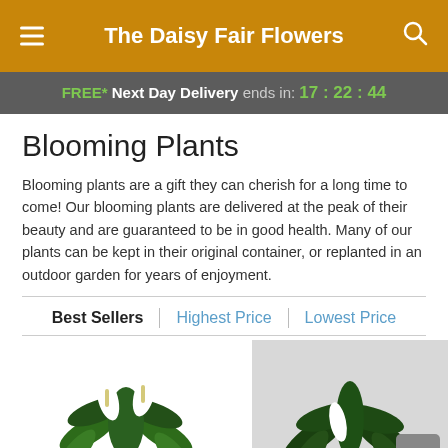The Daisy Fair Flowers
FREE* Next Day Delivery ends in: 17:22:44
Blooming Plants
Blooming plants are a gift they can cherish for a long time to come! Our blooming plants are delivered at the peak of their beauty and are guaranteed to be in good health. Many of our plants can be kept in their original container, or replanted in an outdoor garden for years of enjoyment.
Best Sellers | Highest Price | Lowest Price
[Figure (photo): Two plant photos side by side: left shows a white peace lily plant, right shows a mixed tropical plant arrangement on grey background with a back-to-top button overlay]